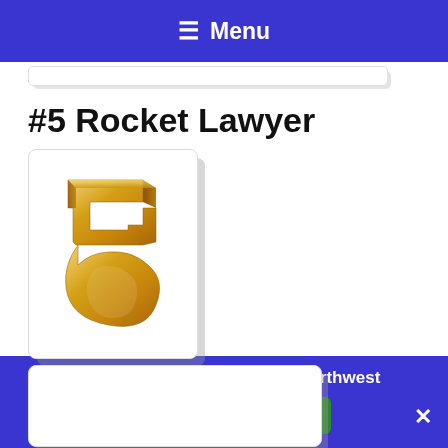≡ Menu
#5 Rocket Lawyer
[Figure (illustration): Gold 3D number 5 rendered on a white card with drop shadow]
[Figure (other): Partial white card with drop shadow, content not visible]
80% off LLC Formation with Northwest
Northwest Discount